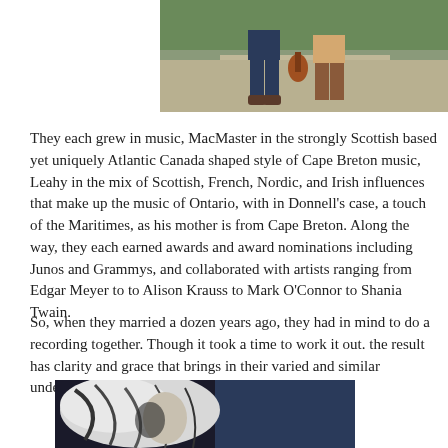[Figure (photo): Two people standing on a gravel path, one holding a violin/fiddle, outdoor greenery in background]
They each grew in music, MacMaster in the strongly Scottish based yet uniquely Atlantic Canada shaped style of Cape Breton music, Leahy in the mix of Scottish, French, Nordic, and Irish influences that make up the music of Ontario, with in Donnell's case, a touch of the Maritimes, as his mother is from Cape Breton. Along the way, they each earned awards and award nominations including Junos and Grammys, and collaborated with artists ranging from Edgar Meyer to to Alison Krauss to Mark O'Connor to Shania Twain.
So, when they married a dozen years ago, they had in mind to do a recording together. Though it took a time to work it out. the result has clarity and grace that brings in their varied and similar understandings of music.
[Figure (photo): Black and white photo of a person with flowing light-colored hair against a dark background]